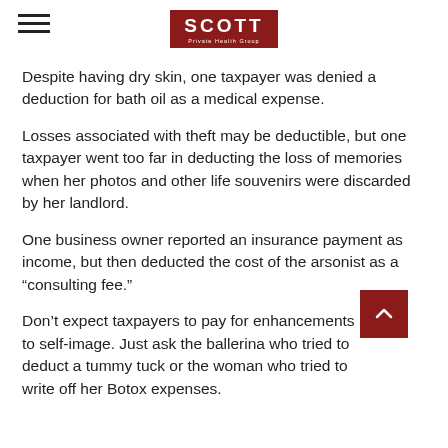SCOTT Private Health Group
Despite having dry skin, one taxpayer was denied a deduction for bath oil as a medical expense.
Losses associated with theft may be deductible, but one taxpayer went too far in deducting the loss of memories when her photos and other life souvenirs were discarded by her landlord.
One business owner reported an insurance payment as income, but then deducted the cost of the arsonist as a “consulting fee.”
Don’t expect taxpayers to pay for enhancements to self-image. Just ask the ballerina who tried to deduct a tummy tuck or the woman who tried to write off her Botox expenses.